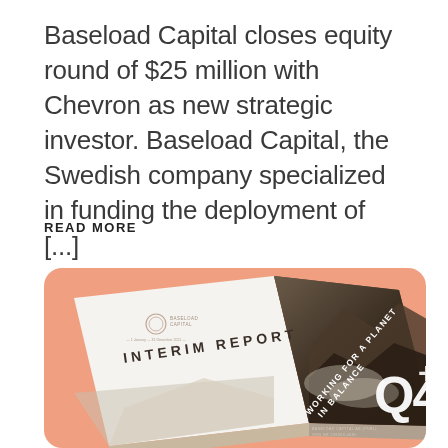Baseload Capital closes equity round of $25 million with Chevron as new strategic investor. Baseload Capital, the Swedish company specialized in funding the deployment of [...]
READ MORE
[Figure (photo): A physical copy of Baseload Capital's Q4 Interim Report booklet on a salmon/peach colored background. The report cover shows 'INTERIM REPORT' text and 'WORKING FOR A PLANET IN BALANCE' with a large Q4 logo and a mountain landscape image.]